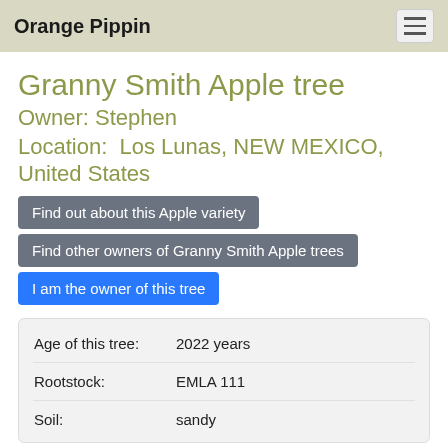Orange Pippin
Granny Smith Apple tree
Owner: Stephen
Location:  Los Lunas, NEW MEXICO, United States
Find out about this Apple variety
Find other owners of Granny Smith Apple trees
I am the owner of this tree
|  |  |
| --- | --- |
| Age of this tree: | 2022 years |
| Rootstock: | EMLA 111 |
| Soil: | sandy |